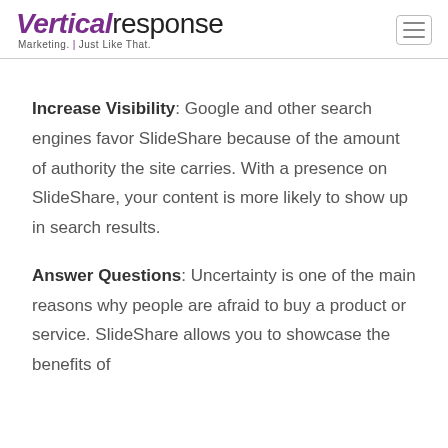VerticalResponse Marketing. Just Like That.
Increase Visibility: Google and other search engines favor SlideShare because of the amount of authority the site carries. With a presence on SlideShare, your content is more likely to show up in search results.
Answer Questions: Uncertainty is one of the main reasons why people are afraid to buy a product or service. SlideShare allows you to showcase the benefits of